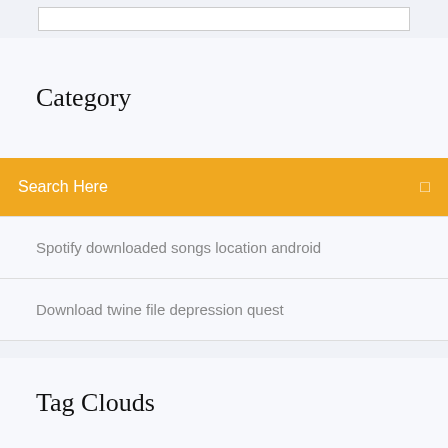Category
Search Here
Spotify downloaded songs location android
Download twine file depression quest
Tag Clouds